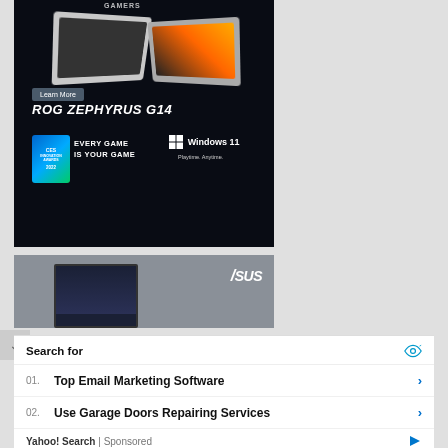[Figure (photo): ASUS ROG Zephyrus G14 advertisement showing two gaming laptops on dark background with 'Learn More' button, ROG ZEPHYRUS G14 title text, CES Innovation Awards 2022 badge, 'EVERY GAME IS YOUR GAME' tagline, and Windows 11 'Playtime. Anytime.' branding]
[Figure (photo): ASUS advertisement showing a monitor on grey background with ASUS logo in top right]
Search for
01.  Top Email Marketing Software
02.  Use Garage Doors Repairing Services
Yahoo! Search | Sponsored